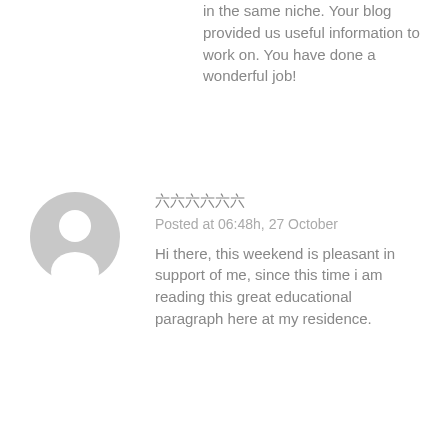in the same niche. Your blog provided us useful information to work on. You have done a wonderful job!
[Figure (illustration): Generic grey user avatar icon — circular silhouette with person shape]
六六六六六六
Posted at 06:48h, 27 October
Hi there, this weekend is pleasant in support of me, since this time i am reading this great educational paragraph here at my residence.